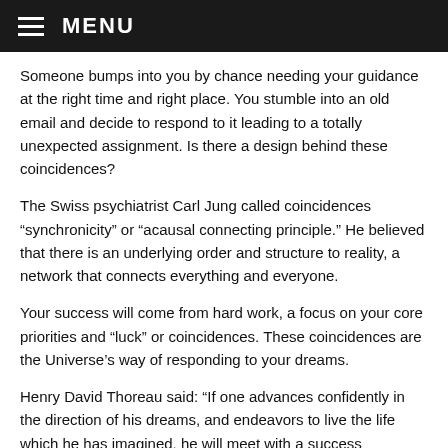MENU
Someone bumps into you by chance needing your guidance at the right time and right place. You stumble into an old email and decide to respond to it leading to a totally unexpected assignment. Is there a design behind these coincidences?
The Swiss psychiatrist Carl Jung called coincidences “synchronicity” or “acausal connecting principle.” He believed that there is an underlying order and structure to reality, a network that connects everything and everyone.
Your success will come from hard work, a focus on your core priorities and “luck” or coincidences. These coincidences are the Universe’s way of responding to your dreams.
Henry David Thoreau said: “If one advances confidently in the direction of his dreams, and endeavors to live the life which he has imagined, he will meet with a success unexpected in common hours.”